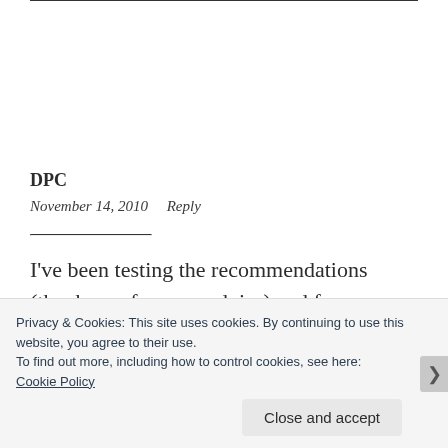DPC
November 14, 2010    Reply
I've been testing the recommendations (thank you for your advise) and for one specific
Privacy & Cookies: This site uses cookies. By continuing to use this website, you agree to their use.
To find out more, including how to control cookies, see here:
Cookie Policy
Close and accept